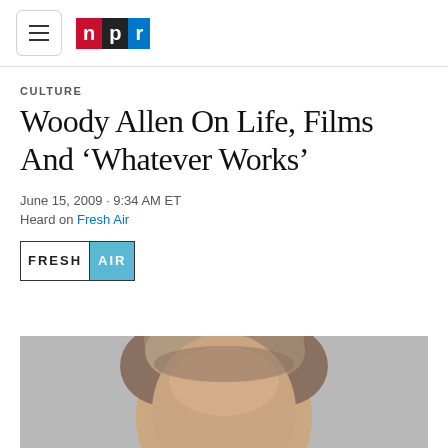NPR
CULTURE
Woody Allen On Life, Films And 'Whatever Works'
June 15, 2009 · 9:34 AM ET
Heard on Fresh Air
[Figure (logo): Fresh Air NPR program logo badge with FRESH in black text on white background and AIR in white text on blue background]
[Figure (photo): Close-up photograph of a man's face and head with gray/brown hair against a gray background, partially cropped showing forehead and top of head]